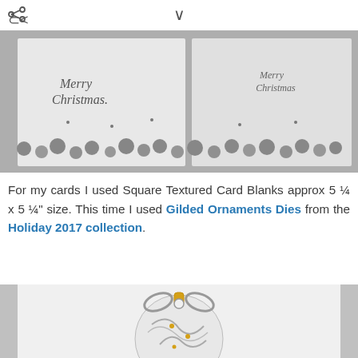[Figure (photo): Christmas cards with 'Merry Christmas' script text and decorative ornament balls, black and white photo]
For my cards I used Square Textured Card Blanks approx 5 ¼ x 5 ¼" size. This time I used Gilded Ornaments Dies from the Holiday 2017 collection.
[Figure (photo): Close-up of a white decorative Christmas ornament with filigree cut-out design and gold/silver bow on top]